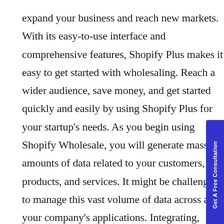expand your business and reach new markets. With its easy-to-use interface and comprehensive features, Shopify Plus makes it easy to get started with wholesaling. Reach a wider audience, save money, and get started quickly and easily by using Shopify Plus for your startup's needs. As you begin using Shopify Wholesale, you will generate massive amounts of data related to your customers, products, and services. It might be challenging to manage this vast volume of data across all of your company's applications. Integrating, cleaning, transforming, and loading your data into a Data Warehouse for future business analysis would consume some of your engineering bandwidth. However, doing so would give you the ability to effectively analyze your data and